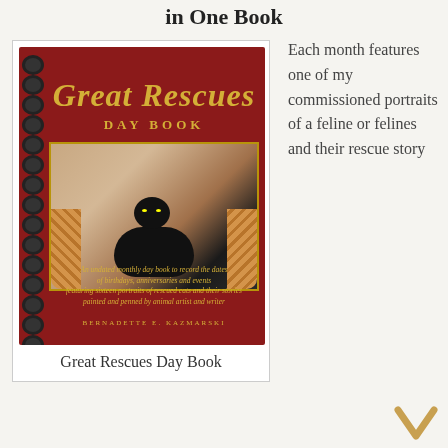in One Book
[Figure (photo): Cover of the Great Rescues Day Book, a spiral-bound dark red book showing a black cat lying in a wicker basket on the cover, with gold script title 'Great Rescues DAY BOOK' and author name Bernadette E. Kazmarski]
Great Rescues Day Book
Each month features one of my commissioned portraits of a feline or felines and their rescue story